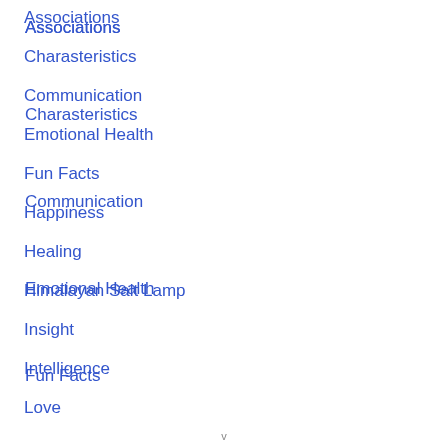Associations
Charasteristics
Communication
Emotional Health
Fun Facts
Happiness
Healing
Himalayan Salt Lamp
Insight
Intelligence
Love
v